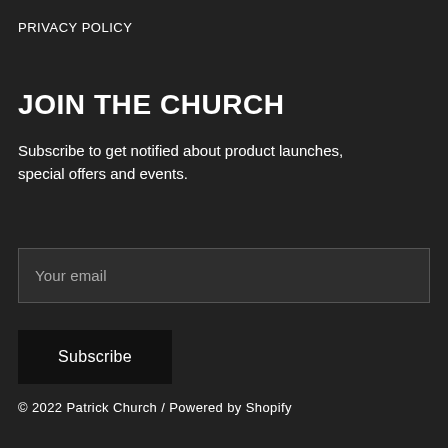PRIVACY POLICY
JOIN THE CHURCH
Subscribe to get notified about product launches, special offers and events.
Your email
Subscribe
© 2022 Patrick Church / Powered by Shopify